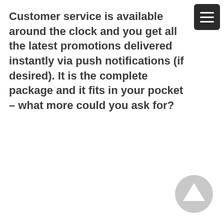Customer service is available around the clock and you get all the latest promotions delivered instantly via push notifications (if desired). It is the complete package and it fits in your pocket – what more could you ask for?
[Figure (illustration): Dark rounded square hamburger menu icon with three white horizontal lines, positioned in top-right corner]
[Figure (illustration): Light grey circular scroll-to-top button with an upward-pointing arrow, positioned in bottom-right corner]